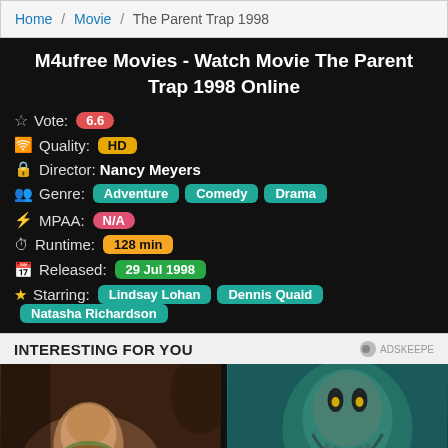Home / Movie / The Parent Trap 1998
M4ufree Movies - Watch Movie The Parent Trap 1998 Online
Vote: 6.6
Quality: HD
Director: Nancy Meyers
Genre: Adventure  Comedy  Drama
MPAA: N/A
Runtime: 128 min
Released: 29 Jul 1998
Starring: Lindsay Lohan  Dennis Quaid  Natasha Richardson
INTERESTING FOR YOU
[Figure (photo): Woman laughing and eating a burger]
[Figure (photo): Monster/creature face with tentacles (Davy Jones style)]